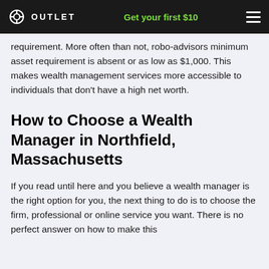OUTLET  Get your first $10
requirement. More often than not, robo-advisors minimum asset requirement is absent or as low as $1,000. This makes wealth management services more accessible to individuals that don’t have a high net worth.
How to Choose a Wealth Manager in Northfield, Massachusetts
If you read until here and you believe a wealth manager is the right option for you, the next thing to do is to choose the firm, professional or online service you want. There is no perfect answer on how to make this